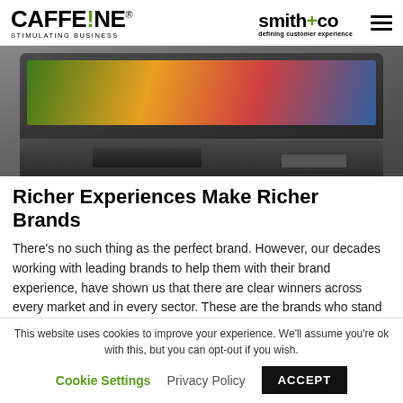CAFFE!NE® STIMULATING BUSINESS | smith+co defining customer experience
[Figure (photo): Interior photo of a modern living room with a large flat-screen TV showing colorful content, a dark coffee table, and a rug, viewed from above/side angle.]
Richer Experiences Make Richer Brands
There's no such thing as the perfect brand. However, our decades working with leading brands to help them with their brand experience, have shown us that there are clear winners across every market and in every sector. These are the brands who stand up,
This website uses cookies to improve your experience. We'll assume you're ok with this, but you can opt-out if you wish.
Cookie Settings   Privacy Policy   ACCEPT